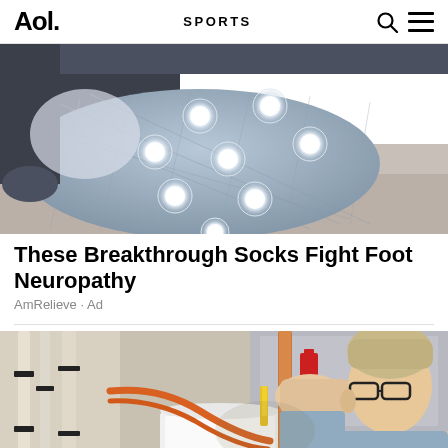Aol. SPORTS
[Figure (photo): Close-up of a person wearing compression/neuropathy socks with circular light/magnet spots on them, sitting on a bed or chair.]
These Breakthrough Socks Fight Foot Neuropathy
AmRelieve · Ad
[Figure (photo): A technician or plumber working on a water heater, using a tool on copper and orange pipes, wearing glasses and a light blue work shirt with a name badge.]